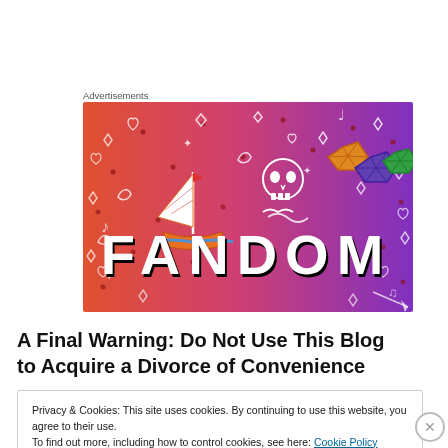Advertisements
[Figure (illustration): Fandom logo banner with colorful gradient background (orange to purple), featuring a sailboat, skull, dice, and decorative doodles with the word FANDOM in large block letters]
A Final Warning: Do Not Use This Blog to Acquire a Divorce of Convenience
Privacy & Cookies: This site uses cookies. By continuing to use this website, you agree to their use.
To find out more, including how to control cookies, see here: Cookie Policy